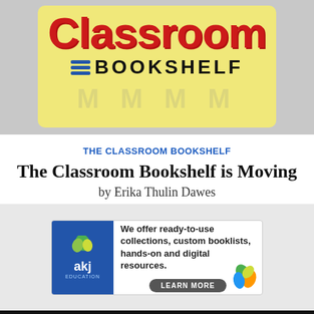[Figure (logo): Classroom Bookshelf logo on yellow background inside gray area]
THE CLASSROOM BOOKSHELF
The Classroom Bookshelf is Moving
by Erika Thulin Dawes
[Figure (infographic): AKJ Education advertisement banner: 'We offer ready-to-use collections, custom booklists, hands-on and digital resources.' with LEARN MORE button]